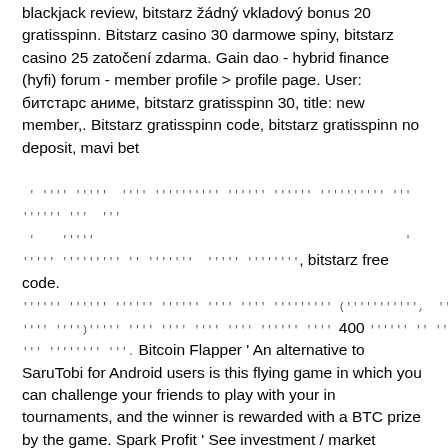blackjack review, bitstarz žádný vkladový bonus 20 gratisspinn. Bitstarz casino 30 darmowe spiny, bitstarz casino 25 zatočení zdarma. Gain dao - hybrid finance (hyfi) forum - member profile &gt; profile page. User: битстарс аниме, bitstarz gratisspinn 30, title: new member,. Bitstarz gratisspinn code, bitstarz gratisspinn no deposit, mavi bet
' '''' '''', '''' '''''''''' '''''' '''''' '''''''''' ''' '''''' ''' ''''' ''''''''' '' '''''', '''' ''''''' , bitstarz free code. '''''' '''''' '''''' '''''' '''' '''' ''''''''' (''''''''''', ''''''''' ' '''' '''')'''''' '''' '''' '''' '''' '''''' '''' 400 '''''' '' '''' ''' '''''''' '''. Bitcoin Flapper ' An alternative to SaruTobi for Android users is this flying game in which you can challenge your friends to play with your in tournaments, and the winner is rewarded with a BTC prize by the game. Spark Profit ' See investment / market trading games section above for full descriptions ' the app is available for both Apple iPhone and Google Android devices